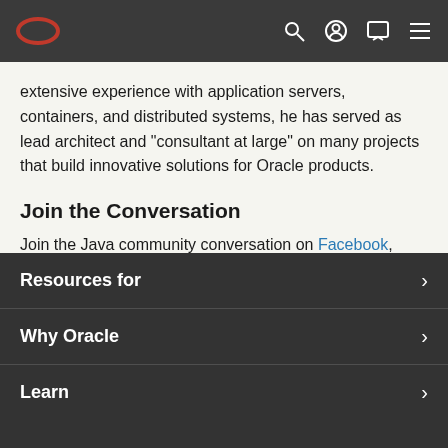Oracle header navigation bar
extensive experience with application servers, containers, and distributed systems, he has served as lead architect and "consultant at large" on many projects that build innovative solutions for Oracle products.
Join the Conversation
Join the Java community conversation on Facebook, Twitter, and the Oracle Java Blog!
Resources for
Why Oracle
Learn